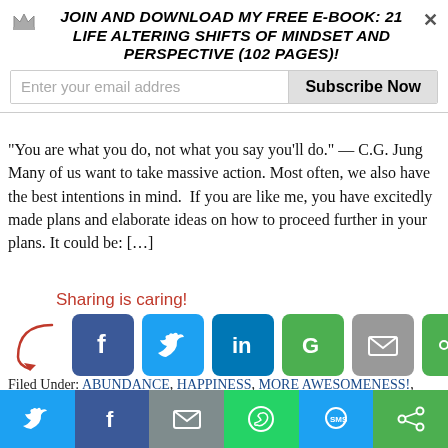[Figure (screenshot): Email subscription banner with crown icon, bold serif title 'Join and download my free e-book: 21 Life Altering Shifts Of Mindset And Perspective (102 pages)!', email input field, and Subscribe Now button]
“You are what you do, not what you say you’ll do.” — C.G. Jung Many of us want to take massive action. Most often, we also have the best intentions in mind. If you are like me, you have excitedly made plans and elaborate ideas on how to proceed further in your plans. It could be: […]
[Figure (infographic): Sharing is caring! text in red cursive with arrow pointing to social share icons: Facebook (blue), Twitter (light blue), LinkedIn (dark blue), Google+ (green), Email (grey), Share (green)]
Filed Under: ABUNDANCE, HAPPINESS, MORE AWESOMENESS!, PSYCHOLOGY, RADIANCE Tagged With: action, flow, inspiration, life, mastery, productivity, psychology, success, unleash, work
[Figure (screenshot): Bottom sharing bar with Twitter, Facebook, Email, WhatsApp, SMS, and Share buttons in colored sections]